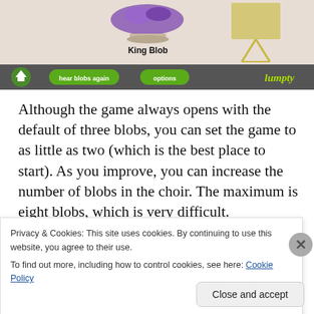[Figure (screenshot): Game UI screenshot showing King Blob character and easel, with green navigation bar containing home button, 'hear blobs again' button, 'options' button, and 'lumpty' branding]
Although the game always opens with the default of three blobs, you can set the game to as little as two (which is the best place to start). As you improve, you can increase the number of blobs in the choir. The maximum is eight blobs, which is very difficult.
[Figure (screenshot): Bottom portion of game screenshot showing dark background with pink element and grey circle]
Privacy & Cookies: This site uses cookies. By continuing to use this website, you agree to their use.
To find out more, including how to control cookies, see here: Cookie Policy